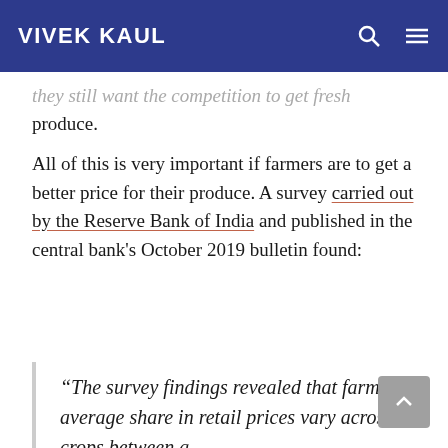VIVEK KAUL
they still want the competition to get fresh produce.
All of this is very important if farmers are to get a better price for their produce. A survey carried out by the Reserve Bank of India and published in the central bank's October 2019 bulletin found:
“The survey findings revealed that farmers’ average share in retail prices vary across crops between a